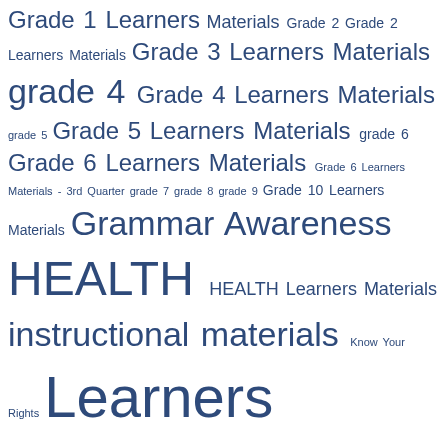Grade 1 Learners Materials Grade 2 Grade 2 Learners Materials Grade 3 Learners Materials grade 4 Grade 4 Learners Materials grade 5 Grade 5 Learners Materials grade 6 Grade 6 Learners Materials Grade 6 Learners Materials - 3rd Quarter grade 7 grade 8 grade 9 Grade 10 Learners Materials Grammar Awareness HEALTH HEALTH Learners Materials instructional materials Know Your Rights Learners Materials learning materials Learning to Learn MATHEMATICS Learners Materials MOTHER TONGUE MUSIC Learners Materials PHYSICAL EDUCATION PHYSICAL EDUCATION Learners Materials Polynomial Functions Preparing for Calamities Printmaking